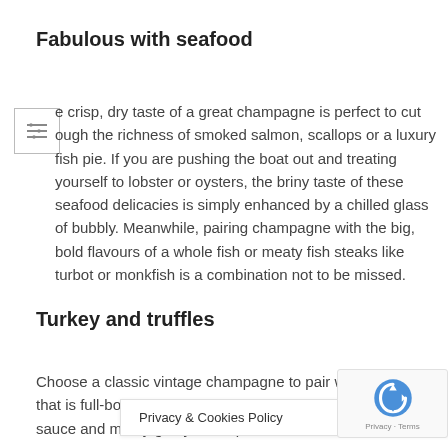Fabulous with seafood
e crisp, dry taste of a great champagne is perfect to cut ough the richness of smoked salmon, scallops or a luxury fish pie. If you are pushing the boat out and treating yourself to lobster or oysters, the briny taste of these seafood delicacies is simply enhanced by a chilled glass of bubbly. Meanwhile, pairing champagne with the big, bold flavours of a whole fish or meaty fish steaks like turbot or monkfish is a combination not to be missed.
Turkey and truffles
Choose a classic vintage champagne to pair with turkey – that is full-bodied will complement the richness of cranbe sauce and meaty gravy. an opuon,
Privacy & Cookies Policy